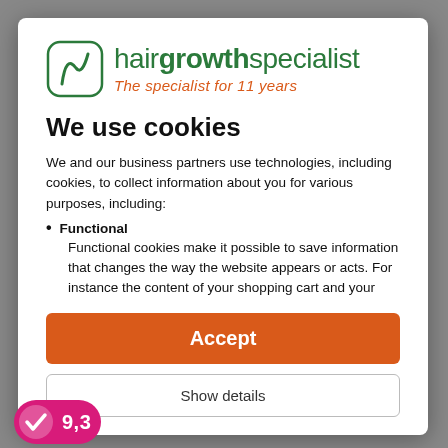[Figure (logo): Hair growth specialist logo with green rounded square icon containing a hair/growth curve symbol, and the brand name 'hairgrowthspecialist' in green bold text with tagline 'The specialist for 11 years' in orange italic script]
We use cookies
We and our business partners use technologies, including cookies, to collect information about you for various purposes, including:
Functional
Functional cookies make it possible to save information that changes the way the website appears or acts. For instance the content of your shopping cart and your
Accept
Show details